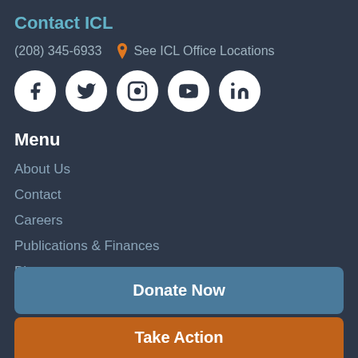Contact ICL
(208) 345-6933   📍 See ICL Office Locations
[Figure (other): Social media icons row: Facebook, Twitter, Instagram, YouTube, LinkedIn — white circles on dark background]
Menu
About Us
Contact
Careers
Publications & Finances
Blog
Events
Donate Now
Take Action